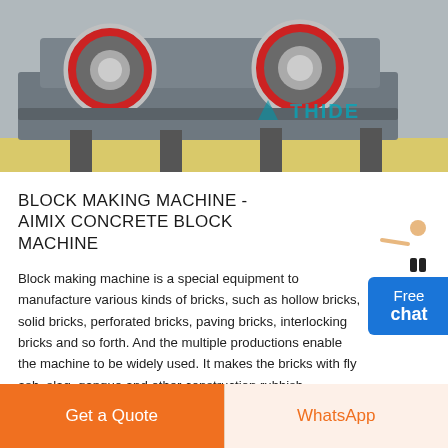[Figure (photo): Industrial block making machine with red wheels on a factory floor, with THIDE watermark logo in the upper right of the image]
BLOCK MAKING MACHINE - AIMIX CONCRETE BLOCK MACHINE
Block making machine is a special equipment to manufacture various kinds of bricks, such as hollow bricks, solid bricks, perforated bricks, paving bricks, interlocking bricks and so forth. And the multiple productions enable the machine to be widely used. It makes the bricks with fly ash, slag, gangue and other construction rubbish.